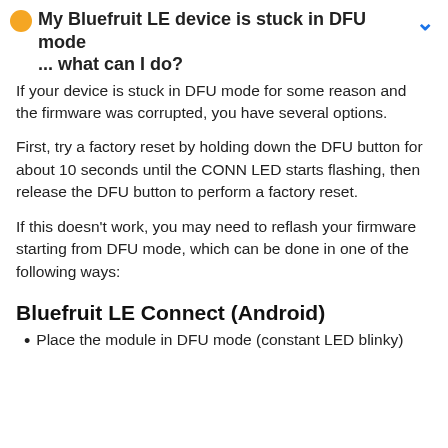My Bluefruit LE device is stuck in DFU mode ... what can I do?
If your device is stuck in DFU mode for some reason and the firmware was corrupted, you have several options.
First, try a factory reset by holding down the DFU button for about 10 seconds until the CONN LED starts flashing, then release the DFU button to perform a factory reset.
If this doesn't work, you may need to reflash your firmware starting from DFU mode, which can be done in one of the following ways:
Bluefruit LE Connect (Android)
Place the module in DFU mode (constant LED blinky)